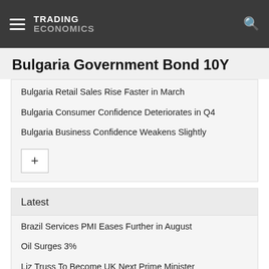TRADING ECONOMICS
Bulgaria Government Bond 10Y
Bulgaria Retail Sales Rise Faster in March
Bulgaria Consumer Confidence Deteriorates in Q4
Bulgaria Business Confidence Weakens Slightly
Latest
Brazil Services PMI Eases Further in August
Oil Surges 3%
Liz Truss To Become UK Next Prime Minister
Canadian Dollar Hovers Near Two-Year Low
Mexico Consumer Morale Hits 17-Month Low
Indian Stocks Start Week in the Green